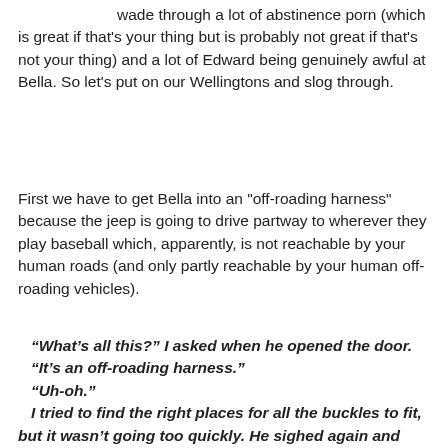wade through a lot of abstinence porn (which is great if that's your thing but is probably not great if that's not your thing) and a lot of Edward being genuinely awful at Bella. So let's put on our Wellingtons and slog through.
First we have to get Bella into an "off-roading harness" because the jeep is going to drive partway to wherever they play baseball which, apparently, is not reachable by your human roads (and only partly reachable by your human off-roading vehicles).
“What’s all this?” I asked when he opened the door. “It’s an off-roading harness.” “Uh-oh.” I tried to find the right places for all the buckles to fit, but it wasn’t going too quickly. He sighed again and reached over to help me. I was glad that the rain was too heavy to see Charlie clearly on the porch. That meant he couldn’t see how Edward’s hands lingered at my neck, brushed along my collarbones. I gave up trying to help him and focused on not hyperventilating.